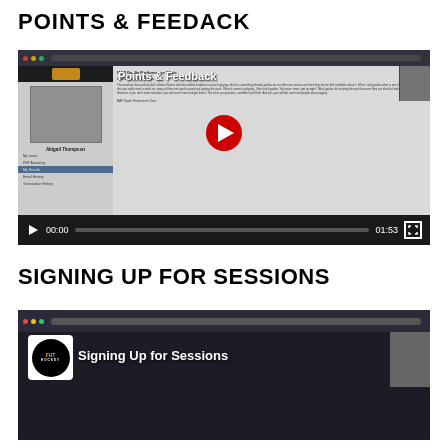POINTS & FEEDACK
[Figure (screenshot): Screenshot of a video titled 'Points & Feedback' showing a FHT Hockey platform with a user profile for Abigail Thompson and email feedback, with video player controls showing 00:00 and 01:53 duration]
SIGNING UP FOR SESSIONS
[Figure (screenshot): Screenshot of a video titled 'Signing Up for Sessions' showing a FHT Hockey platform interface]